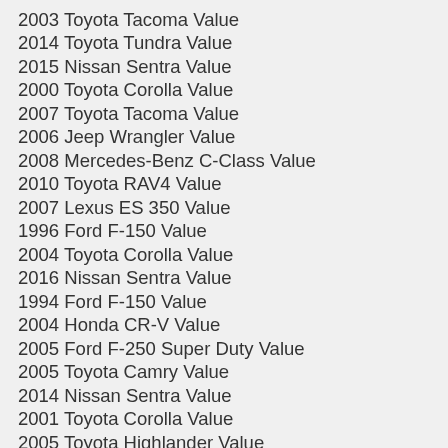2003 Toyota Tacoma Value
2014 Toyota Tundra Value
2015 Nissan Sentra Value
2000 Toyota Corolla Value
2007 Toyota Tacoma Value
2006 Jeep Wrangler Value
2008 Mercedes-Benz C-Class Value
2010 Toyota RAV4 Value
2007 Lexus ES 350 Value
1996 Ford F-150 Value
2004 Toyota Corolla Value
2016 Nissan Sentra Value
1994 Ford F-150 Value
2004 Honda CR-V Value
2005 Ford F-250 Super Duty Value
2005 Toyota Camry Value
2014 Nissan Sentra Value
2001 Toyota Corolla Value
2005 Toyota Highlander Value